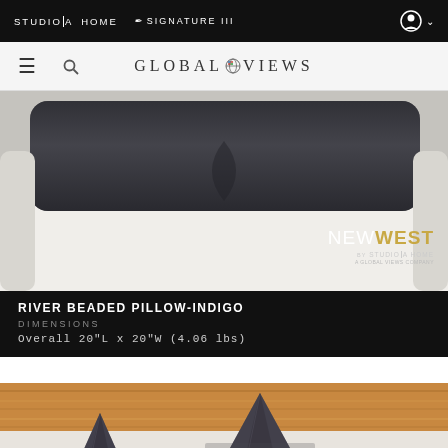STUDIO|A  HOME   SIGNATURE III
[Figure (screenshot): Global Views website navigation bar with hamburger menu, search icon, and Global Views logo with globe icon]
[Figure (photo): Indigo beaded pillow on a rounded white chair, with NEWWEST BY STUDIO|A HOME branding overlay in bottom right]
RIVER BEADED PILLOW-INDIGO
DIMENSIONS
Overall 20"L x 20"W (4.06 lbs)
[Figure (photo): Close-up of indigo/dark grey beaded pillow corners on a wooden surface background]